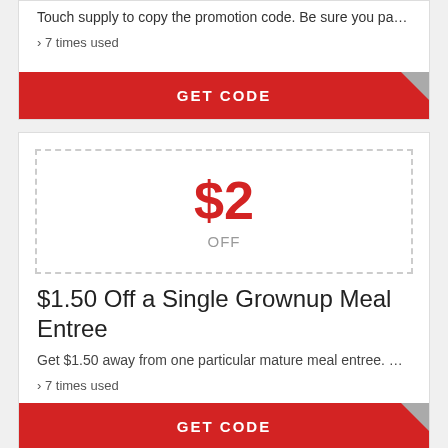Touch supply to copy the promotion code. Be sure you pa…
› 7 times used
GET CODE
[Figure (other): Dashed border coupon box showing $2 OFF discount value]
$1.50 Off a Single Grownup Meal Entree
Get $1.50 away from one particular mature meal entree. …
› 7 times used
GET CODE